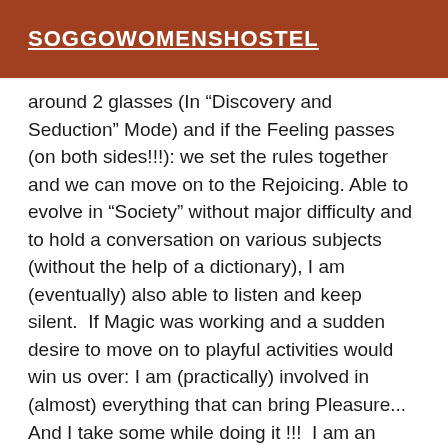SOGGOWOMENSHOSTEL
around 2 glasses (In "Discovery and Seduction" Mode) and if the Feeling passes (on both sides!!!): we set the rules together and we can move on to the Rejoicing. Able to evolve in "Society" without major difficulty and to hold a conversation on various subjects (without the help of a dictionary), I am (eventually) also able to listen and keep silent.  If Magic was working and a sudden desire to move on to playful activities would win us over: I am (practically) involved in (almost) everything that can bring Pleasure... And I take some while doing it !!!  I am an Adorable Naughty Girl :) It should be noted that I have a traveling soul and that I am easily transportable. Endowed with an acute sense of Pragmatic (and a quite developed capacity of Adaptation) I take (also) remarkably well the Train by myself. I can travel throughout the Region (and more particularly in Alpine and its surroundings). BRIEF Opt for Simplicity and Dare Quality Priced Support.  (without jealousy, hypocrisy or